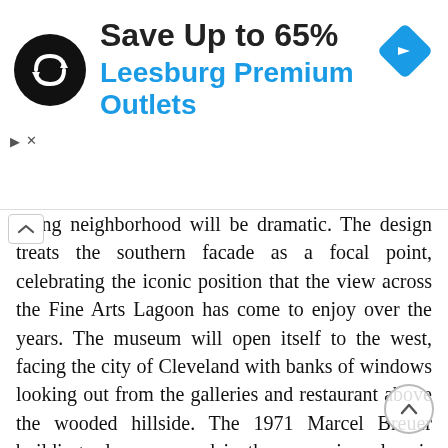[Figure (infographic): Advertisement banner: logo (black circle with double-arrow icon), headline 'Save Up to 65%', subline 'Leesburg Premium Outlets', navigation diamond icon top right, close/arrow controls bottom left]
nding neighborhood will be dramatic. The design treats the southern facade as a focal point, celebrating the iconic position that the view across the Fine Arts Lagoon has come to enjoy over the years. The museum will open itself to the west, facing the city of Cleveland with banks of windows looking out from the galleries and restaurant above the wooded hillside. The 1971 Marcel Breuer building, also preserved in the expansion plan, is alluded to by striped motifs in the materials of the new construction. The new construction makes ample use of glass, giving the structure a quality museum architecture has often lacked: openness. Visitors inside the museum will be able to see out, and passersby outside will be able to see in. This transcendence of barriers between inside and outside is symbolic of the strengthening bond between the museum and its community. The museum is not only a major civic asset to its neighborhood and to northern Ohio, it is also part of a broader arts and cultural community that brings